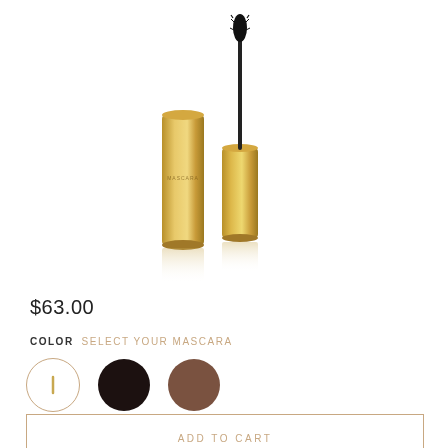[Figure (photo): Gold/rose-gold mascara tube and wand product shot on white background with reflection]
$63.00
COLOR  SELECT YOUR MASCARA
[Figure (other): Three color swatches: white/gold (selected, with border), very dark brown/black, medium brown]
ADD TO CART